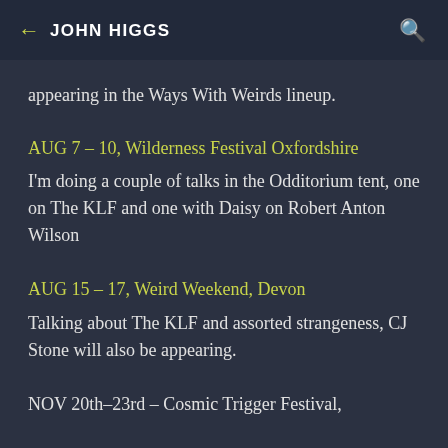← JOHN HIGGS 🔍
appearing in the Ways With Weirds lineup.
AUG 7 – 10, Wilderness Festival Oxfordshire
I'm doing a couple of talks in the Odditorium tent, one on The KLF and one with Daisy on Robert Anton Wilson
AUG 15 – 17, Weird Weekend, Devon
Talking about The KLF and assorted strangeness, CJ Stone will also be appearing.
NOV 20th–23rd – Cosmic Trigger Festival,